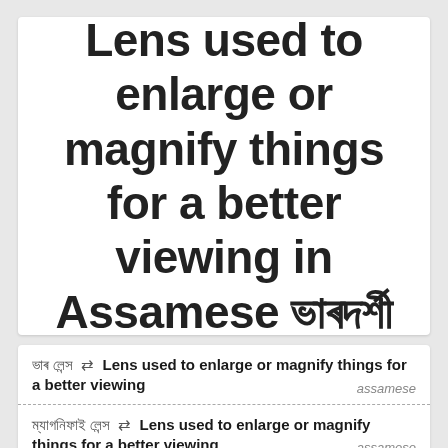Lens used to enlarge or magnify things for a better viewing in Assamese ভাৰদৰ্শী
ভাৰ লেন্স ⇄ Lens used to enlarge or magnify things for a better viewing — assamese
ম্যাগনিফাই লেন্স ⇄ Lens used to enlarge or magnify things for a better viewing — assamese